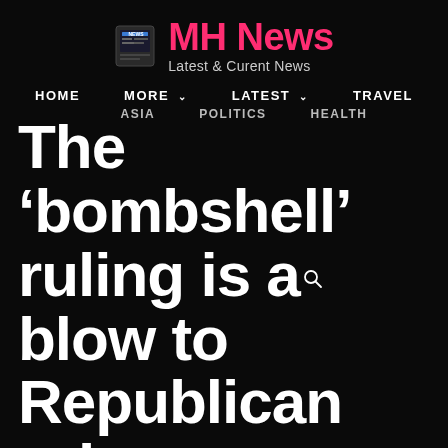MH News — Latest & Curent News
HOME  MORE  LATEST  TRAVEL
ASIA  POLITICS  HEALTH
The ‘bombshell’ ruling is a blow to Republican rules
Image caption Gerrymandering does “the least that it can do to keep us from getting kicked out of office,” says Michael Li, a senior fellow at the Brennan Center Last week a United States…